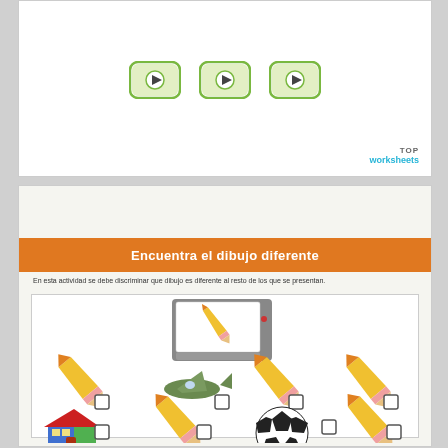[Figure (illustration): Three green play buttons in a row on white background]
TOP
worksheets
Encuentra el dibujo diferente
En esta actividad se debe discriminar que dibujo es diferente al resto de los que se presentan.
[Figure (illustration): Activity worksheet showing: top center - a graphics tablet with pencil drawing on it; second row - pencil, airplane (different), pencil, pencil each with a checkbox; bottom row - house (different), pencil, soccer ball (different), pencil each with a checkbox]